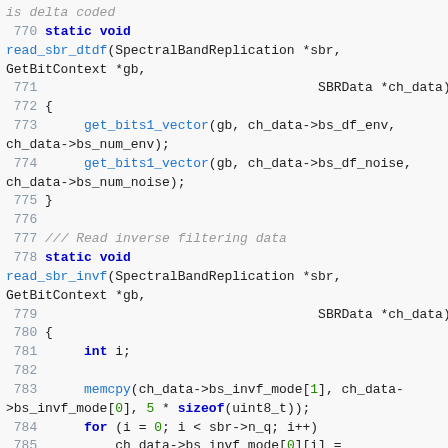[Figure (screenshot): Source code screenshot showing C code for read_sbr_dtdf and read_sbr_invf functions, lines 770-785, with syntax highlighting: line numbers in gray, keywords in blue, function names in cyan/blue, numeric literals in green.]